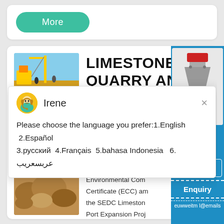[Figure (screenshot): Top card with 'More' green rounded button]
[Figure (screenshot): Card showing LIMESTONE QUARRY AND article with crane image]
[Figure (screenshot): Chat popup from Irene with language selection message]
Please choose the language you prefer:1.English  2.Español  3.русский  4.Français  5.bahasa Indonesia  6. عربسعريب
2020-12-5   The pro Environmental Com Certificate (ECC) am the SEDC Limestone Port Expansion Proj the integration of th
[Figure (screenshot): Sidebar with machine image, notification badge '1', Click me to chat>> button, Enquiry button, email partial text]